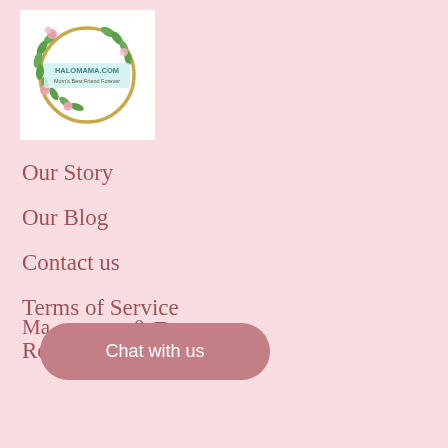[Figure (logo): Halomama.com logo — circular gold wreath with pink flowers and green leaves, with text 'HALOMAMA.COM' and 'Mom's Best Friend Forever' in the center, on a white background]
Our Story
Our Blog
Contact us
Terms of Service
Refund policy
Ma...  ▾
Chat with us